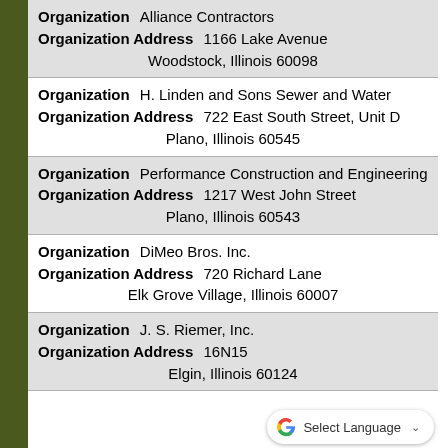Organization: Alliance Contractors
Organization Address: 1166 Lake Avenue, Woodstock, Illinois 60098
Organization: H. Linden and Sons Sewer and Water
Organization Address: 722 East South Street, Unit D, Plano, Illinois 60545
Organization: Performance Construction and Engineering
Organization Address: 1217 West John Street, Plano, Illinois 60543
Organization: DiMeo Bros. Inc.
Organization Address: 720 Richard Lane, Elk Grove Village, Illinois 60007
Organization: J. S. Riemer, Inc.
Organization Address: 16N1... Elgin, Illinois 60124